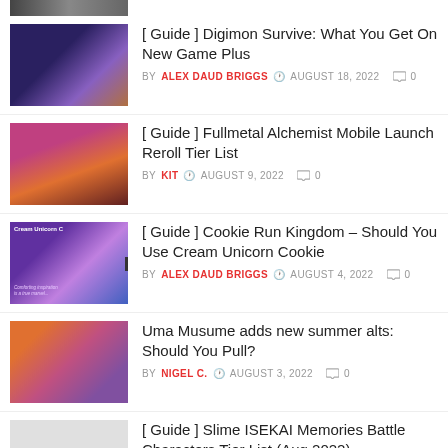[Figure (screenshot): Partial thumbnail strip at top of page (cropped)]
[ Guide ] Digimon Survive: What You Get On New Game Plus — BY ALEX DAUD BRIGGS — AUGUST 18, 2022 — 0 comments
[ Guide ] Fullmetal Alchemist Mobile Launch Reroll Tier List — BY KIT — AUGUST 9, 2022 — 0 comments
[ Guide ] Cookie Run Kingdom – Should You Use Cream Unicorn Cookie — BY ALEX DAUD BRIGGS — AUGUST 4, 2022 — 0 comments
Uma Musume adds new summer alts: Should You Pull? — BY NIGEL C. — AUGUST 3, 2022 — 0 comments
[ Guide ] Slime ISEKAI Memories Battle Characters Tier List (Aug 2022) — BY BEN — AUGUST 2, 2022 — 0 comments